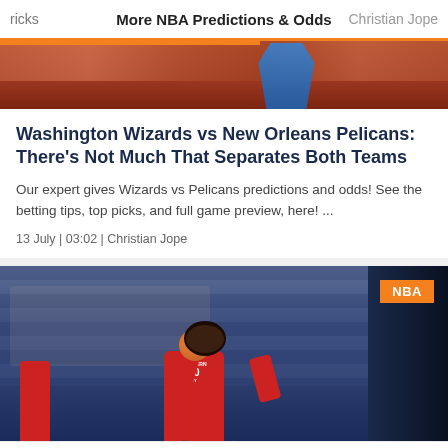ricks | More NBA Predictions & Odds | Christian Jope
[Figure (photo): Partial view of basketball player in blue and white uniform at top of page]
Washington Wizards vs New Orleans Pelicans: There's Not Much That Separates Both Teams
Our expert gives Wizards vs Pelicans predictions and odds! See the betting tips, top picks, and full game preview, here! ...
13 July | 03:02 | Christian Jope
[Figure (photo): Basketball player in red Western Kentucky #20 jersey dribbling the ball in an arena setting with NBA badge in top right corner]
Sportsbooks | Bonuses | State Guides